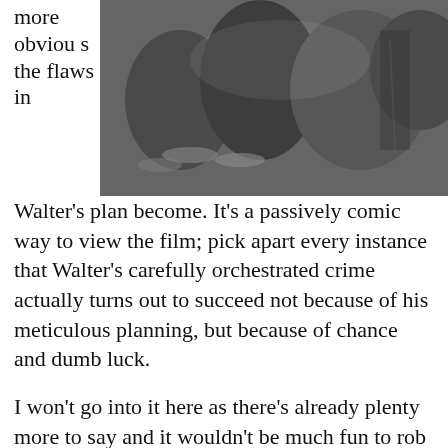[Figure (photo): Black and white photo of people at what appears to be a dinner or social gathering, partially visible figures with plates on a table]
more obvious the flaws in Walter's plan become. It's a passively comic way to view the film; pick apart every instance that Walter's carefully orchestrated crime actually turns out to succeed not because of his meticulous planning, but because of chance and dumb luck.
I won't go into it here as there's already plenty more to say and it wouldn't be much fun to rob you of these discoveries yourself, but one particularly ridiculous suggestion of Walter's has to do with his communications with Phyllis.
Obviously they don't want to be seen together, and they shouldn't be driving back and forth to each